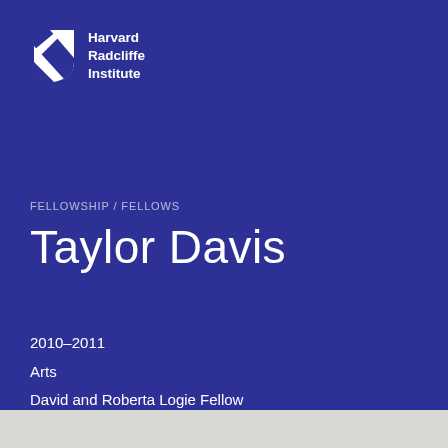[Figure (logo): Harvard Radcliffe Institute logo: white shield with diagonal stripes and white text reading Harvard Radcliffe Institute]
FELLOWSHIP / FELLOWS
Taylor Davis
2010–2011
Arts
David and Roberta Logie Fellow
Independent Artist